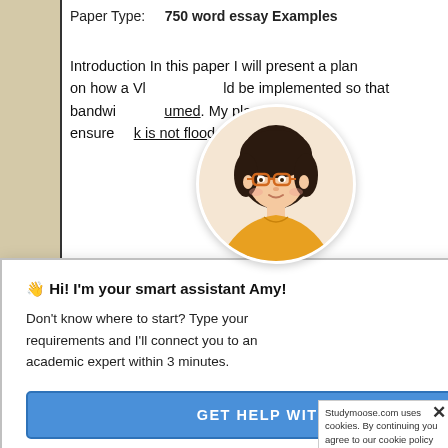Paper Type:    750 word essay Examples
Introduction In this paper I will present a plan on how a VL... ...ld be implemented so that bandwi... ...umed. My plan will ensure... ...k is not flooded with ...ame VLAN ...or cities. ...offers ...Ns. ...data ...ssed by all
[Figure (illustration): Cartoon avatar of a young woman with dark hair, glasses, and a yellow top, shown in a circular frame — the Amy assistant character]
× (close button)
👋 Hi! I'm your smart assistant Amy!
Don't know where to start? Type your requirements and I'll connect you to an academic expert within 3 minutes.
GET HELP WITH YOUR ASSIGNMENT
[Figure (schematic): Network diagram showing NETWORK box and INTERNET box connected]
NETWORK
INTER NET
Studymoose.com uses cookies. By continuing you agree to our cookie policy
× (cookie close)
TrustedSite